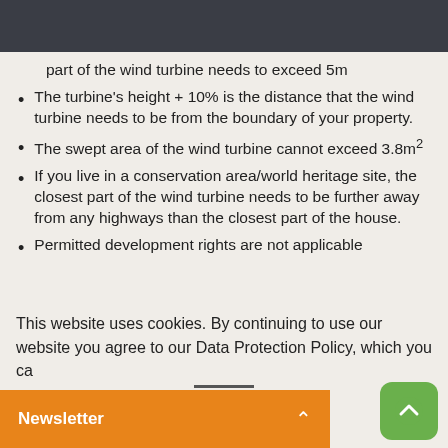part of the wind turbine needs to exceed 5m
The turbine's height + 10% is the distance that the wind turbine needs to be from the boundary of your property.
The swept area of the wind turbine cannot exceed 3.8m²
If you live in a conservation area/world heritage site, the closest part of the wind turbine needs to be further away from any highways than the closest part of the house.
Permitted development rights are not applicable
This website uses cookies. By continuing to use our website you agree to our Data Protection Policy, which you c...